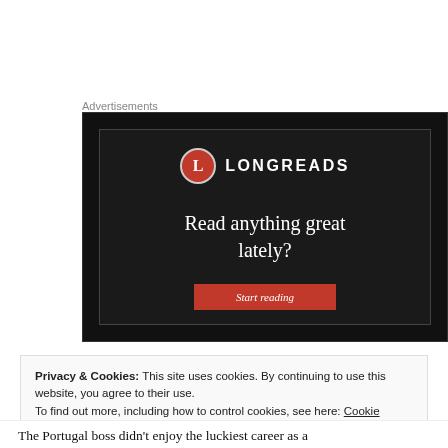Advertisements
[Figure (screenshot): Longreads advertisement banner with dark background showing logo, text 'Read anything great lately?' and a red 'Start reading' button]
Privacy & Cookies: This site uses cookies. By continuing to use this website, you agree to their use.
To find out more, including how to control cookies, see here: Cookie Policy
Close and accept
The Portugal boss didn't enjoy the luckiest career as a